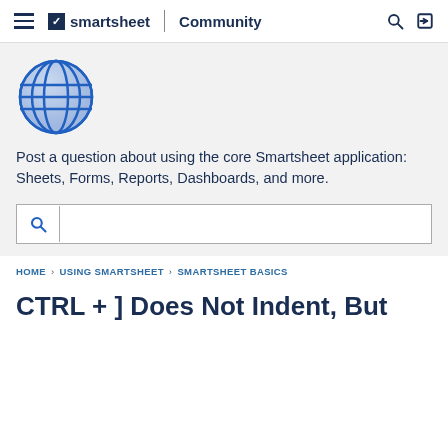≡  ✓ smartsheet | Community  🔍  ➡
[Figure (logo): Smartsheet globe logo — a blue wireframe globe/grid sphere icon]
Post a question about using the core Smartsheet application: Sheets, Forms, Reports, Dashboards, and more.
[Figure (other): Search input box with a magnifying glass icon on the left side]
HOME › USING SMARTSHEET › SMARTSHEET BASICS
CTRL + ] Does Not Indent, But